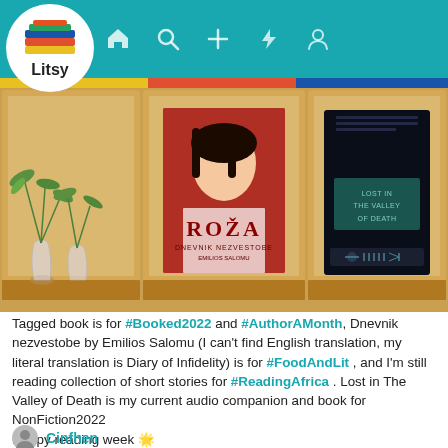[Figure (screenshot): Litsy app navigation bar with teal background, Litsy logo (stacked colorful books) in white circle, and nav icons for home, search, add, notifications, profile]
[Figure (photo): Bookshelf with three wooden compartments: left has a plant vase decoration, center has a red book cover 'Roza' with a woman's face, right has a dark audiobook/ebook cover 'Lost in The Valley of Death']
Tagged book is for #Booked2022 and #AuthorAMonth, Dnevnik nezvestobe by Emilios Salomu (I can't find English translation, my literal translation is Diary of Infidelity) is for #FoodAndLit , and I'm still reading collection of short stories for #ReadingAfrica . Lost in The Valley of Death is my current audio companion and book for NonFiction2022
Happy reading week 🌟
#weeklyforecast
Cinfhen